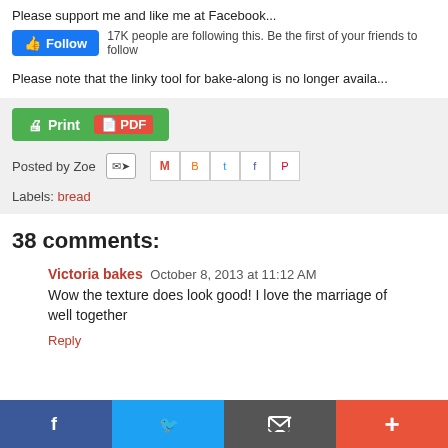Please support me and like me at Facebook...
[Figure (screenshot): Facebook Follow button with '17K people are following this. Be the first of your friends to follow']
Please note that the linky tool for bake-along is no longer availa...
[Figure (screenshot): Print PDF button and social share icons row with 'Posted by Zoe' and Labels: bread]
38 comments:
Victoria bakes  October 8, 2013 at 11:12 AM
Wow the texture does look good! I love the marriage of... well together
Reply
[Figure (screenshot): Bottom social sharing bar with Facebook, Twitter, Email, and More buttons]